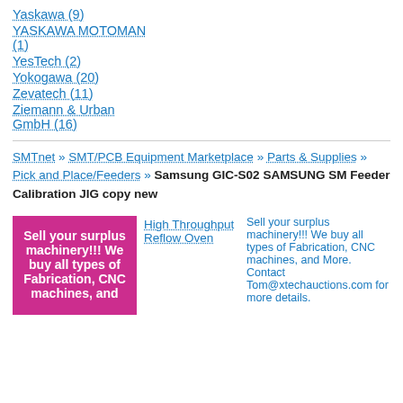Yaskawa (9)
YASKAWA MOTOMAN (1)
YesTech (2)
Yokogawa (20)
Zevatech (11)
Ziemann & Urban GmbH (16)
SMTnet » SMT/PCB Equipment Marketplace » Parts & Supplies » Pick and Place/Feeders » Samsung GIC-S02 SAMSUNG SM Feeder Calibration JIG copy new
Sell your surplus machinery!!! We buy all types of Fabrication, CNC machines, and
High Throughput Reflow Oven
Sell your surplus machinery!!! We buy all types of Fabrication, CNC machines, and More. Contact Tom@xtechauctions.com for more details.